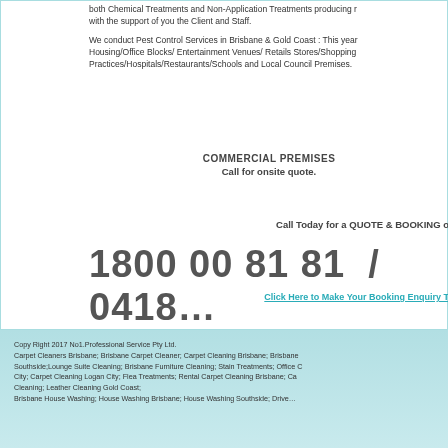both Chemical Treatments and Non-Application Treatments producing r... with the support of you the Client and Staff.

We conduct Pest Control Services in Brisbane & Gold Coast : This year... Housing/Office Blocks/ Entertainment Venues/ Retails Stores/Shopping... Practices/Hospitals/Restaurants/Schools and Local Council Premises.
COMMERCIAL PREMISES
Call for onsite quote.
Call Today for a QUOTE & BOOKING o...
1800 00 81 81  /  0418...
Click Here to Make Your Booking Enquiry T...
Copy Right 2017 No1.Professional Service Pty Ltd.
Carpet Cleaners Brisbane; Brisbane Carpet Cleaner; Carpet Cleaning Brisbane; Brisbane... Southside;Lounge Suite Cleaning; Brisbane Furniture Cleaning; Stain Treatments; Office C... City; Carpet Cleaning Logan City; Flea Treatments; Rental Carpet Cleaning Brisbane; Ca... Cleaning; Leather Cleaning Gold Coast;
Brisbane House Washing; House Washing Brisbane; House Washing Southside; Drive...